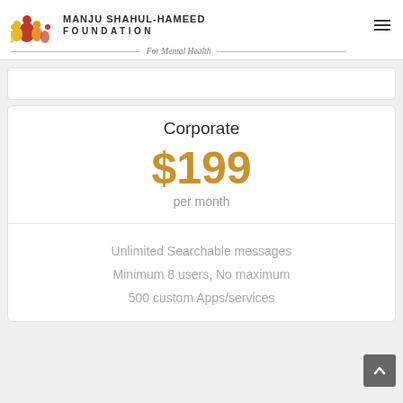[Figure (logo): Manju Shahul-Hameed Foundation For Mental Health logo with colorful figures and text]
Corporate
$199
per month
Unlimited Searchable messages
Minimum 8 users, No maximum
500 custom Apps/services